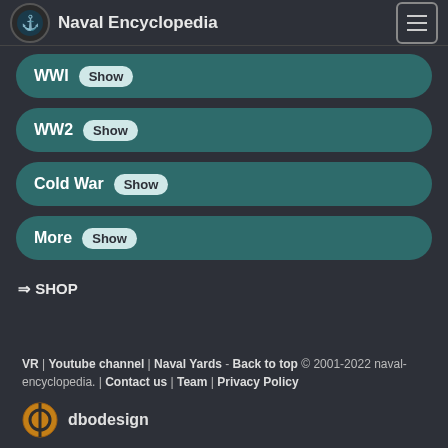Naval Encyclopedia
WWI Show
WW2 Show
Cold War Show
More Show
⇒ SHOP
VR | Youtube channel | Naval Yards - Back to top © 2001-2022 naval-encyclopedia. | Contact us | Team | Privacy Policy
dbodesign